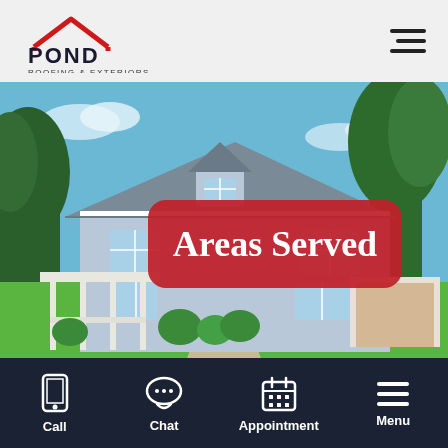[Figure (logo): Pond Roofing & Exteriors logo with red roof outline above the company name]
[Figure (photo): A gray house with a steep roof, dormers, a porch, deck and landscaped yard. Red rounded rectangle overlay with 'Areas Served' text.]
Areas Served
Category Home
Call  Chat  Appointment  Menu